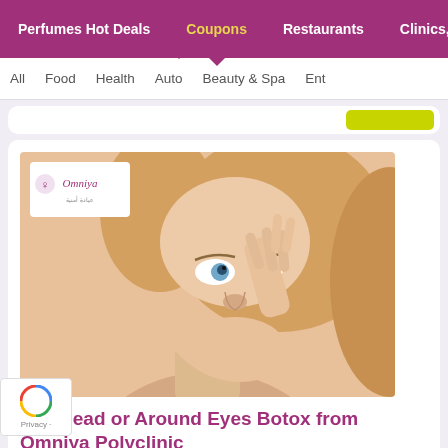Perfumes Hot Deals | Coupons | Restaurants | Clinics, B...
All | Food | Health | Auto | Beauty & Spa | Ent...
[Figure (photo): Woman with blonde hair touching her forehead/eye area, with Omniya Polyclinic logo overlay in top left corner]
Forehead or Around Eyes Botox from Omniya Polyclinic
Botox acts on the expression lines in the face, known as "mobile wrinkles". These wrinkles are formed over ...